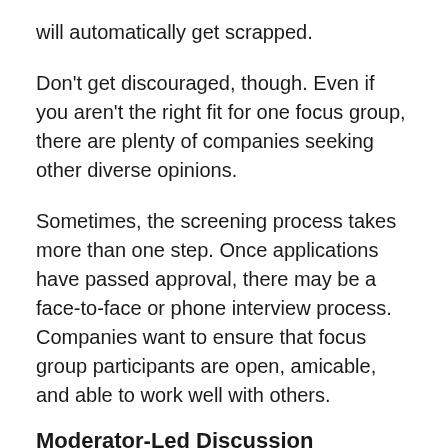will automatically get scrapped.
Don't get discouraged, though. Even if you aren't the right fit for one focus group, there are plenty of companies seeking other diverse opinions.
Sometimes, the screening process takes more than one step. Once applications have passed approval, there may be a face-to-face or phone interview process. Companies want to ensure that focus group participants are open, amicable, and able to work well with others.
Moderator-Led Discussion